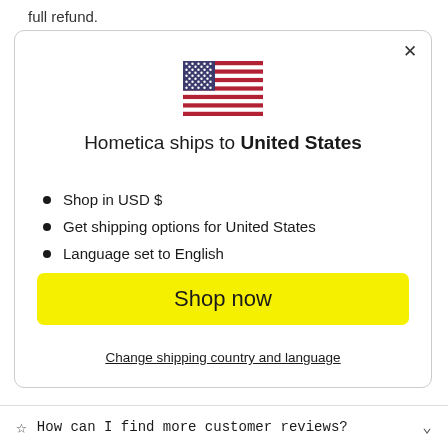full refund.
[Figure (illustration): US flag SVG illustration inside a modal dialog popup]
Hometica ships to United States
Shop in USD $
Get shipping options for United States
Language set to English
Shop now
Change shipping country and language
How can I find more customer reviews?